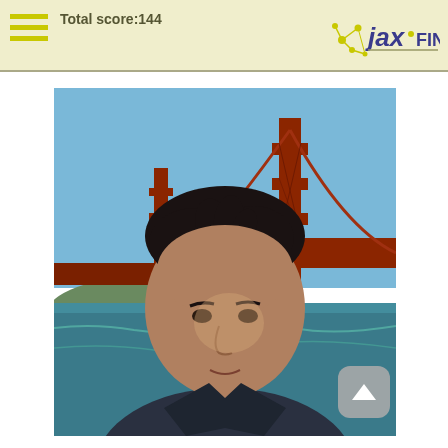Total score:144 — jax FINANCE
[Figure (photo): Person standing in front of the Golden Gate Bridge in San Francisco, wearing a dark Nike jacket. The bridge towers and red steel structure are visible behind them, with blue sky and water below. A scroll-up button overlay appears in the bottom-right corner of the image.]